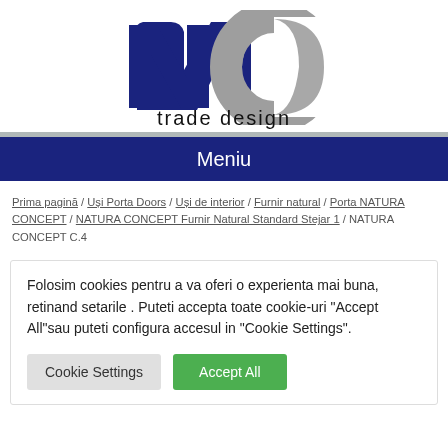[Figure (logo): NC trade design logo with dark blue stylized letters and grey C, with 'trade design' text below]
Meniu
Prima pagină / Ușị Porta Doors / Uși de interior / Furnir natural / Porta NATURA CONCEPT / NATURA CONCEPT Furnir Natural Standard Stejar 1 / NATURA CONCEPT C.4
Folosim cookies pentru a va oferi o experienta mai buna, retinand setarile . Puteti accepta toate cookie-uri "Accept All"sau puteti configura accesul in "Cookie Settings".
Cookie Settings  Accept All